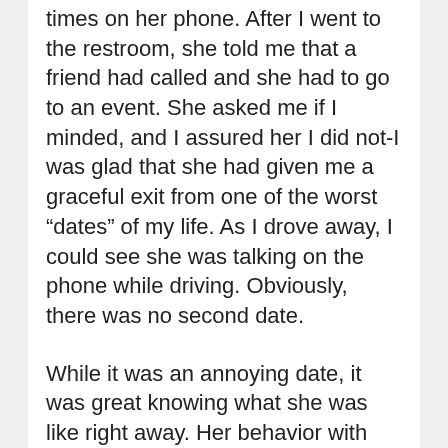times on her phone. After I went to the restroom, she told me that a friend had called and she had to go to an event. She asked me if I minded, and I assured her I did not-I was glad that she had given me a graceful exit from one of the worst “dates” of my life. As I drove away, I could see she was talking on the phone while driving. Obviously, there was no second date.
While it was an annoying date, it was great knowing what she was like right away. Her behavior with the phone showed me just how much I was worth to her: almost nothing. I did not feel bad, since her story about her ex-boyfriend showed that anyone who was not